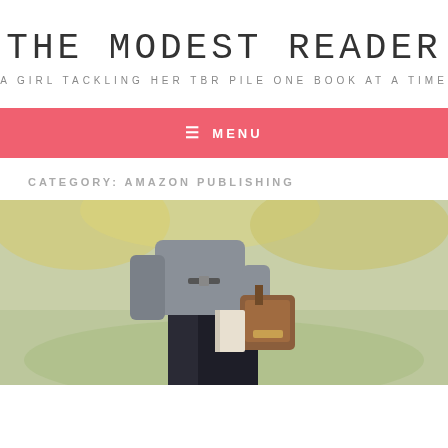THE MODEST READER
A GIRL TACKLING HER TBR PILE ONE BOOK AT A TIME
≡ MENU
CATEGORY: AMAZON PUBLISHING
[Figure (photo): A man in a grey jacket holding a brown leather bag and a book, standing outdoors with blurred greenery in background]